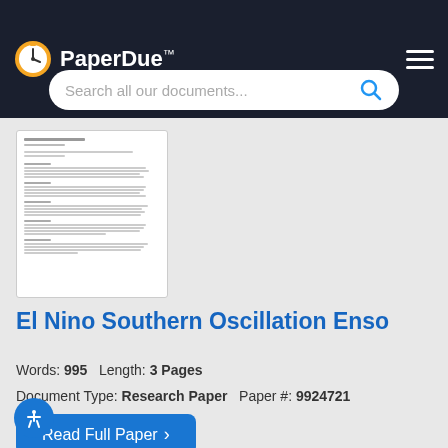PaperDue™
[Figure (screenshot): Search bar with placeholder text 'Search all our documents...' and a blue search icon]
[Figure (screenshot): Preview thumbnail of a document page with text lines]
El Nino Southern Oscillation Enso
Words: 995   Length: 3 Pages
Document Type: Research Paper   Paper #: 9924721
Read Full Paper ›